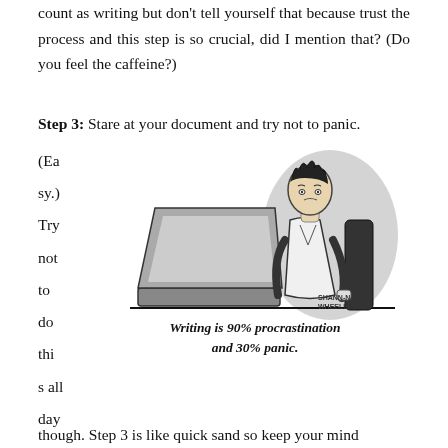count as writing but don't tell yourself that because trust the process and this step is so crucial, did I mention that? (Do you feel the caffeine?)
Step 3: Stare at your document and try not to panic.
(Easy.) Try not to do this all day,
[Figure (illustration): Black and white cartoon illustration of a person hunched over a laptop looking distressed, with the caption 'Writing is 90% procrastination and 30% panic.' Signed by Shannon Wheeler.]
though. Step 3 is like quick sand so keep your mind